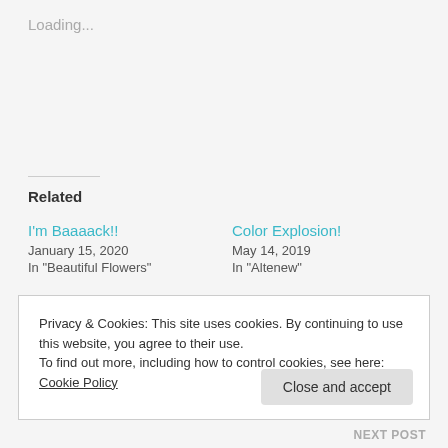Loading...
Related
I'm Baaaack!!
January 15, 2020
In "Beautiful Flowers"
Color Explosion!
May 14, 2019
In "Altenew"
Clean Up Cards!
May 1, 2020
In "Alex Syberia Designs"
Privacy & Cookies: This site uses cookies. By continuing to use this website, you agree to their use.
To find out more, including how to control cookies, see here: Cookie Policy
Close and accept
NEXT POST